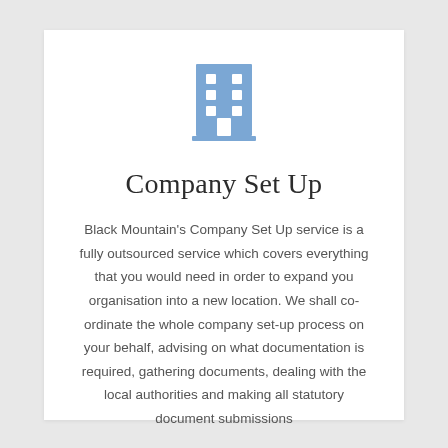[Figure (illustration): Blue building/office icon with windows arranged in a grid pattern and a door at the bottom center]
Company Set Up
Black Mountain's Company Set Up service is a fully outsourced service which covers everything that you would need in order to expand you organisation into a new location. We shall co-ordinate the whole company set-up process on your behalf, advising on what documentation is required, gathering documents, dealing with the local authorities and making all statutory document submissions